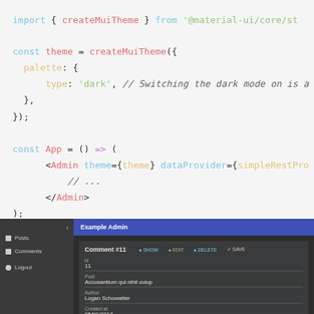[Figure (screenshot): Code editor screenshot showing JavaScript/JSX code with syntax highlighting on a light gray background. Code shows import of createMuiTheme, const theme definition with palette dark type, and const App arrow function with Admin component using theme and dataProvider props.]
[Figure (screenshot): Dark-themed admin UI screenshot showing Example Admin header in purple, sidebar with Posts, Comments, Logout items, and a Comment #11 detail view with fields for id (11), Post (Accusantium qui nihil volup), Author (Logan Schowatter), and Created at (05/09/2017).]